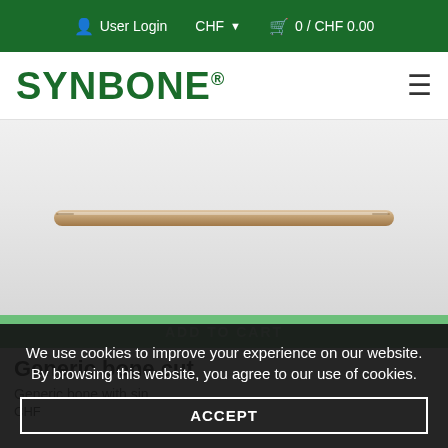User Login  CHF  0 / CHF 0.00
[Figure (logo): SYNBONE logo in dark green bold text with registered trademark symbol]
[Figure (photo): Product photo of a generic bone rod (femoral or tibial intramedullary nail model) — a long, slender beige/tan cylindrical bone model on a white/grey gradient background]
We use cookies to improve your experience on our website. By browsing this website, you agree to our use of cookies.
ACCEPT
Generic bone cut
Generic bone with single cut at both ends